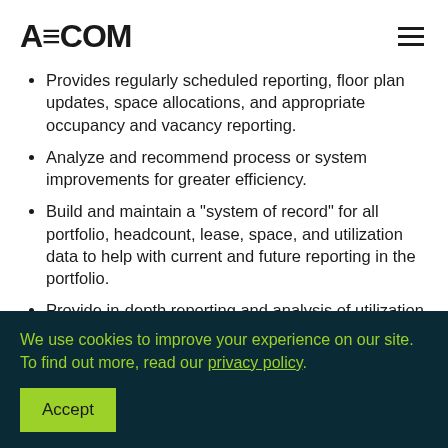AECOM
Provides regularly scheduled reporting, floor plan updates, space allocations, and appropriate occupancy and vacancy reporting.
Analyze and recommend process or system improvements for greater efficiency.
Build and maintain a "system of record" for all portfolio, headcount, lease, space, and utilization data to help with current and future reporting in the portfolio.
Provide in-depth reporting and analysis of utilization,
We use cookies to improve your experience on our site. To find out more, read our privacy policy.
Accept